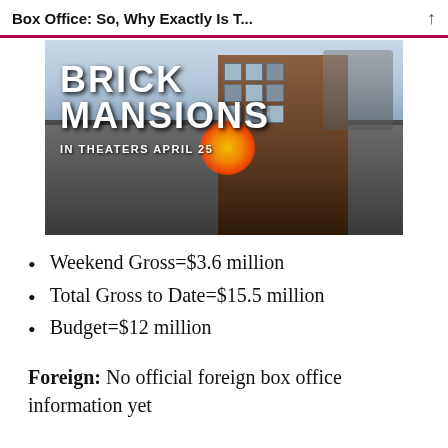Box Office: So, Why Exactly Is T...
[Figure (photo): Movie poster for Brick Mansions showing the title text 'BRICK MANSIONS' and 'IN THEATERS APRIL 25' over an action scene with a building and explosion.]
Weekend Gross=$3.6 million
Total Gross to Date=$15.5 million
Budget=$12 million
Foreign: No official foreign box office information yet